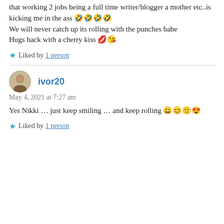that working 2 jobs being a full time writer/blogger a mother etc..is kicking me in the ass 🤣🤣🤣🤣
We will never catch up its rolling with the punches babe
Hugs back with a cherry kiss 💋😘
Liked by 1 person
ivor20
May 4, 2021 at 7:27 am
Yes Nikki … just keep smiling … and keep rolling 😀😊🙂😍
Liked by 1 person